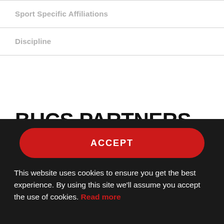Sport Specific Affiliations
Discipline
BUCS PARTNERS
[Figure (logo): Partial gray circular logo visible at bottom of white content area]
ACCEPT
This website uses cookies to ensure you get the best experience. By using this site we'll assume you accept the use of cookies. Read more